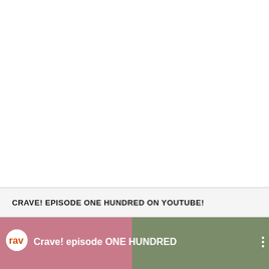CRAVE! EPISODE ONE HUNDRED ON YOUTUBE!
[Figure (screenshot): YouTube video thumbnail showing 'Crave! episode ONE HUNDRED' with a channel logo (rav) on the left and a blurred outdoor scene on the right, with three-dot menu icon]